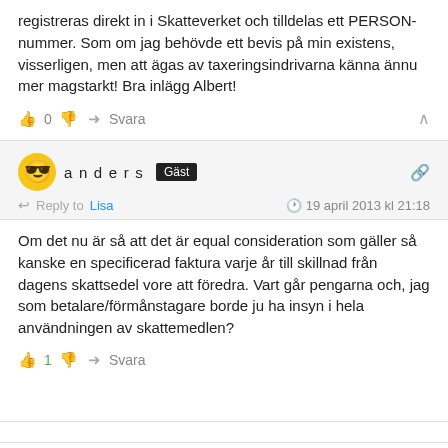registreras direkt in i Skatteverket och tilldelas ett PERSON-nummer. Som om jag behövde ett bevis på min existens, visserligen, men att ägas av taxeringsindrivarna känna ännu mer magstarkt! Bra inlägg Albert!
0  Svara
anders  Gäst
Reply to Lisa   19 april 2013 kl 21:18
Om det nu är så att det är equal consideration som gäller så kanske en specificerad faktura varje år till skillnad från dagens skattsedel vore att föredra. Vart går pengarna och, jag som betalare/förmånstagare borde ju ha insyn i hela användningen av skattemedlen?
1  Svara